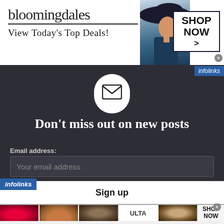[Figure (screenshot): Bloomingdales advertisement banner: logo, 'View Today's Top Deals!', model in hat, SHOP NOW button]
infolinks
[Figure (illustration): White circle with envelope/email icon]
Don’t miss out on new posts
Email address:
Your email address
Sign up
infolinks
[Figure (screenshot): Ulta Beauty advertisement strip with makeup imagery and SHOP NOW button]